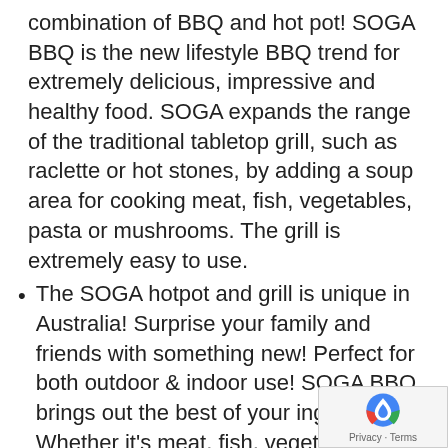combination of BBQ and hot pot! SOGA BBQ is the new lifestyle BBQ trend for extremely delicious, impressive and healthy food. SOGA expands the range of the traditional tabletop grill, such as raclette or hot stones, by adding a soup area for cooking meat, fish, vegetables, pasta or mushrooms. The grill is extremely easy to use.
The SOGA hotpot and grill is unique in Australia! Surprise your family and friends with something new! Perfect for both outdoor & indoor use! SOGA BBQ brings out the best of your ingredients. Whether it's meat, fish, vegetarian or even vegan.
Features:
An integrated switch that controls the flow of electricity to the hotpot with a